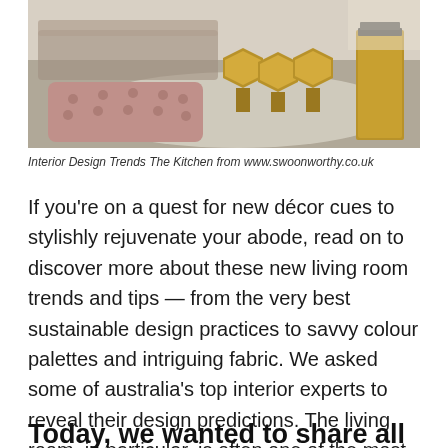[Figure (photo): Interior design photo showing a living room with golden brass hexagonal side tables and a tufted pink/mauve velvet seating piece or ottoman on a neutral rug, with a sofa visible in the background]
Interior Design Trends The Kitchen from www.swoonworthy.co.uk
If you're on a quest for new décor cues to stylishly rejuvenate your abode, read on to discover more about these new living room trends and tips — from the very best sustainable design practices to savvy colour palettes and intriguing fabric. We asked some of australia's top interior experts to reveal their design predictions. The living room, in particular, is often one of the most utilised spaces in our home, so having when we work with interior design clients, we really encourage them to introduce pieces that are your living room is the perfect place to experiment with paint.
Today, we wanted to share all the details